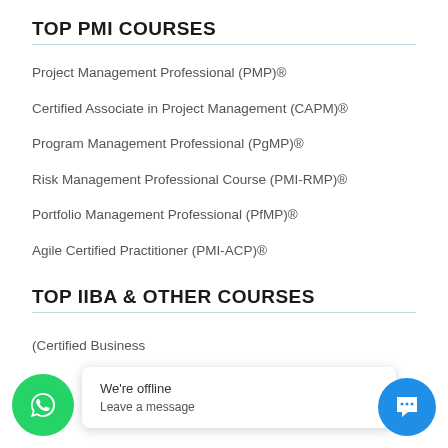TOP PMI COURSES
Project Management Professional (PMP)®
Certified Associate in Project Management (CAPM)®
Program Management Professional (PgMP)®
Risk Management Professional Course (PMI-RMP)®
Portfolio Management Professional (PfMP)®
Agile Certified Practitioner (PMI-ACP)®
TOP IIBA & OTHER COURSES
(Certified Business…
We're offline
Leave a message